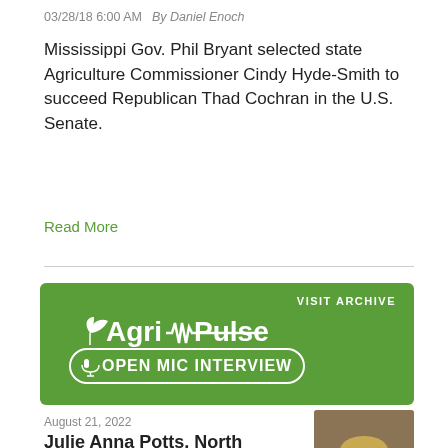03/28/18 6:00 AM   By Daniel Enoch
Mississippi Gov. Phil Bryant selected state Agriculture Commissioner Cindy Hyde-Smith to succeed Republican Thad Cochran in the U.S. Senate.
Read More
[Figure (illustration): Agri-Pulse Open Mic Interview banner — green background with white Agri-Pulse logo and 'OPEN MIC INTERVIEW' text, with 'VISIT ARCHIVE' in upper right]
August 21, 2022
Julie Anna Potts, North American Meat Institute
[Figure (photo): Headshot of Julie Anna Potts, a woman with short blonde hair, smiling, wearing colorful clothing and teal earrings]